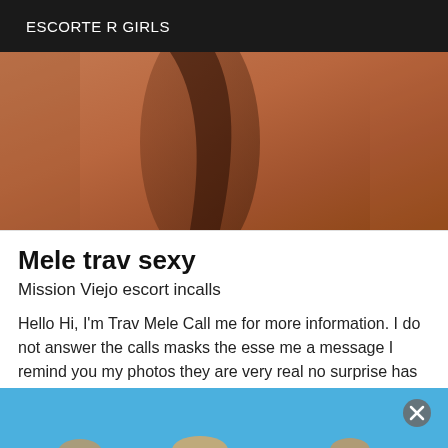ESCORTE R GIRLS
[Figure (photo): Close-up photo showing human skin tones in warm brownish-orange colors with dark shadow]
Mele trav sexy
Mission Viejo escort incalls
Hello Hi, I'm Trav Mele Call me for more information. I do not answer the calls masks the esse me a message I remind you my photos they are very real no surprise has very quickly kisse
[Figure (photo): Photo with blue sky background, partially visible figures at the bottom, with a circular X/close button overlay in the upper right]